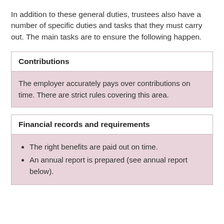In addition to these general duties, trustees also have a number of specific duties and tasks that they must carry out. The main tasks are to ensure the following happen.
Contributions
The employer accurately pays over contributions on time. There are strict rules covering this area.
Financial records and requirements
The right benefits are paid out on time.
An annual report is prepared (see annual report below).